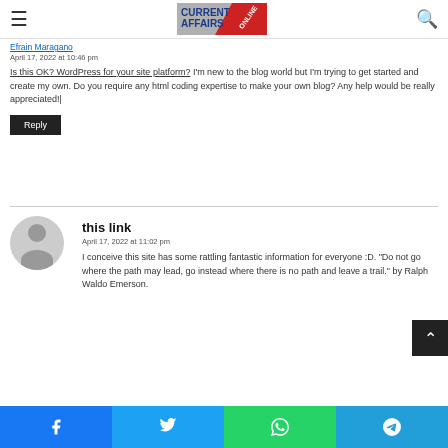Current Affairs Online — navigation header with logo
Is this OK? WordPress for your site platform? I'm new to the blog world but I'm trying to get started and create my own. Do you require any html coding expertise to make your own blog? Any help would be really appreciated!|
Reply
this link
April 17, 2022 at 11:02 pm
I conceive this site has some rattling fantastic information for everyone :D. "Do not go where the path may lead, go instead where there is no path and leave a trail." by Ralph Waldo Emerson.
Social share bar: Facebook, Twitter, WhatsApp, Telegram